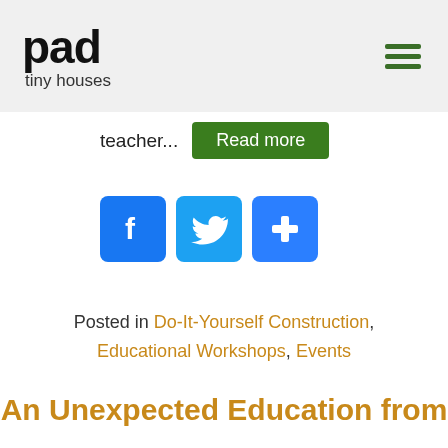pad tiny houses
teacher...
[Figure (other): Facebook, Twitter, and share social media icon buttons]
Posted in Do-It-Yourself Construction, Educational Workshops, Events
An Unexpected Education from Tiny House Living